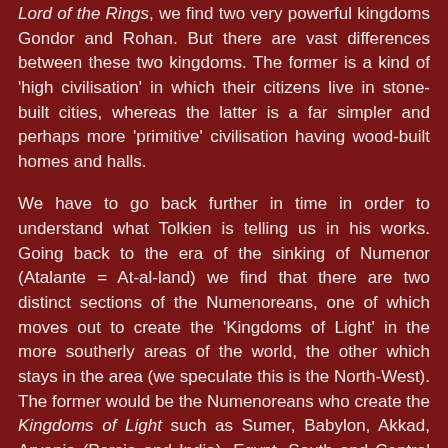Lord of the Rings, we find two very powerful kingdoms Gondor and Rohan. But there are vast differences between these two kingdoms. The former is a kind of 'high civilisation' in which their citizens live in stone-built cities, whereas the latter is a far simpler and perhaps more 'primitive' civilisation having wood-built homes and halls.
We have to go back further in time in order to understand what Tolkien is telling us in his works. Going back to the era of the sinking of Numenor (Atalante = At-al-land) we find that there are two distinct sections of the Numenoreans, one of which moves out to create the 'Kingdoms of Light' in the more southerly areas of the world, the other which stays in the area (we speculate this is the North-West). The former would be the Numenoreans who create the Kingdoms of Light such as Sumer, Babylon, Akkad, Aryania (Persia and India), Egypt, South and Central America, etc. moving later into the more material kingdoms of Greece and Rome etc. These would be the equivalent of Gondor in Lord of the Rings, those who built the city-states. Those who remained and chose to live in a more 'primitive' state were the Rohirrim or Eorlingas. These were clearly the Germanic Folk since Tolkien based them on the English Tribes. The...